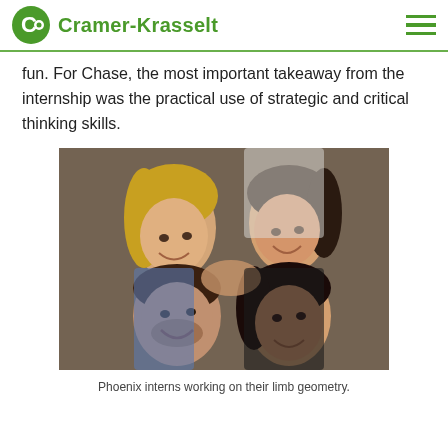Cramer-Krasselt
fun. For Chase, the most important takeaway from the internship was the practical use of strategic and critical thinking skills.
[Figure (photo): Four young people lying on the floor in a circle with their heads together, smiling at the camera from above. Three women and one man, appears to be taken from above looking down.]
Phoenix interns working on their limb geometry.